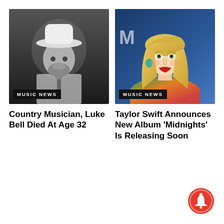[Figure (photo): Black and white photo of country musician Luke Bell wearing a cowboy hat, performing at a microphone]
[Figure (photo): Color photo of Taylor Swift with blonde hair and red lips at what appears to be the MTV VMAs]
Country Musician, Luke Bell Died At Age 32
Taylor Swift Announces New Album ‘Midnights’ Is Releasing Soon